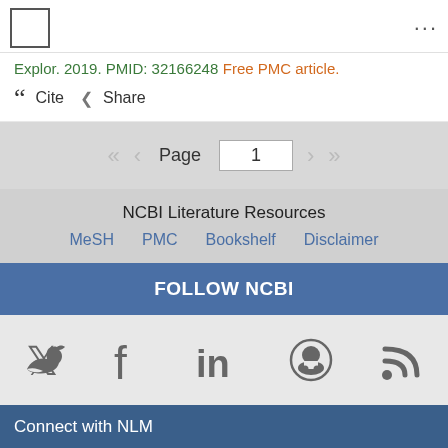NCBI PubMed header with logo and menu
Explor. 2019. PMID: 32166248 Free PMC article.
Cite  Share
Page 1
NCBI Literature Resources
MeSH  PMC  Bookshelf  Disclaimer
FOLLOW NCBI
[Figure (infographic): Social media icons: Twitter, Facebook, LinkedIn, GitHub, RSS feed]
Connect with NLM